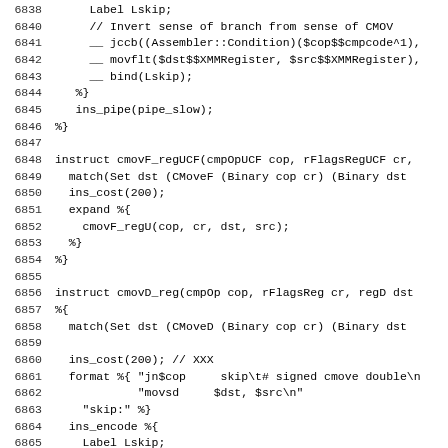Source code listing lines 6838-6869
6838    Label Lskip;
6840      // Invert sense of branch from sense of CMOV
6841      __ jccb((Assembler::Condition)($cop$$cmpcode^1),
6842      __ movflt($dst$$XMMRegister, $src$$XMMRegister),
6843      __ bind(Lskip);
6844    %}
6845    ins_pipe(pipe_slow);
6846 %}
6847
6848 instruct cmovF_regUCF(cmpOpUCF cop, rFlagsRegUCF cr,
6849   match(Set dst (CMoveF (Binary cop cr) (Binary dst
6850   ins_cost(200);
6851   expand %{
6852     cmovF_regU(cop, cr, dst, src);
6853   %}
6854 %}
6855
6856 instruct cmovD_reg(cmpOp cop, rFlagsReg cr, regD dst
6857 %{
6858   match(Set dst (CMoveD (Binary cop cr) (Binary dst
6859
6860   ins_cost(200); // XXX
6861   format %{ "jn$cop     skip\t# signed cmove double\n
6862              "movsd     $dst, $src\n"
6863     "skip:" %}
6864   ins_encode %{
6865     Label Lskip;
6866     // Invert sense of branch from sense of CMOV
6867     __ jccb((Assembler::Condition)($cop$$cmpcode^1),
6868     __ movdbl($dst$$XMMRegister, $src$$XMMRegister),
6869     __ bind(Lskip);